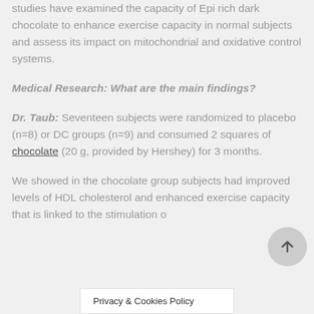studies have examined the capacity of Epi rich dark chocolate to enhance exercise capacity in normal subjects and assess its impact on mitochondrial and oxidative control systems.
Medical Research: What are the main findings?
Dr. Taub: Seventeen subjects were randomized to placebo (n=8) or DC groups (n=9) and consumed 2 squares of chocolate (20 g, provided by Hershey) for 3 months.
We showed in the chocolate group subjects had improved levels of HDL cholesterol and enhanced exercise capacity that is linked to the stimulation of
Privacy & Cookies Policy